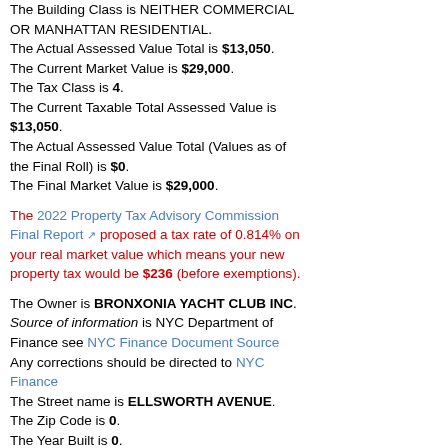The Building Class is NEITHER COMMERCIAL NOR MANHATTAN RESIDENTIAL. The Actual Assessed Value Total is $13,050. The Current Market Value is $29,000. The Tax Class is 4. The Current Taxable Total Assessed Value is $13,050. The Actual Assessed Value Total (Values as of the Final Roll) is $0. The Final Market Value is $29,000.
The 2022 Property Tax Advisory Commission Final Report proposed a tax rate of 0.814% on your real market value which means your new property tax would be $236 (before exemptions).
The Owner is BRONXONIA YACHT CLUB INC. Source of information is NYC Department of Finance see NYC Finance Document Source Any corrections should be directed to NYC Finance The Street name is ELLSWORTH AVENUE. The Zip Code is 0. The Year Built is 0. The Zoning is C3A. The Borough Block and Lot ID is 2054880031